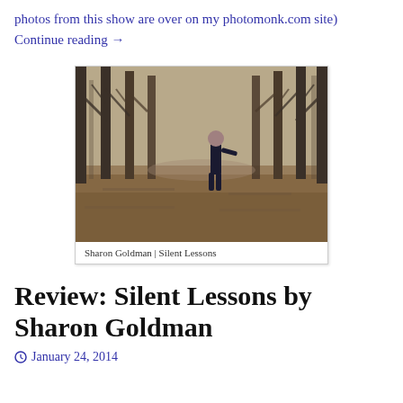photos from this show are over on my photomonk.com site) Continue reading →
[Figure (photo): Album cover for Sharon Goldman | Silent Lessons — a woman in dark clothing stands in a park with bare trees in the background, over a ground covered in brown leaves]
Review: Silent Lessons by Sharon Goldman
January 24, 2014